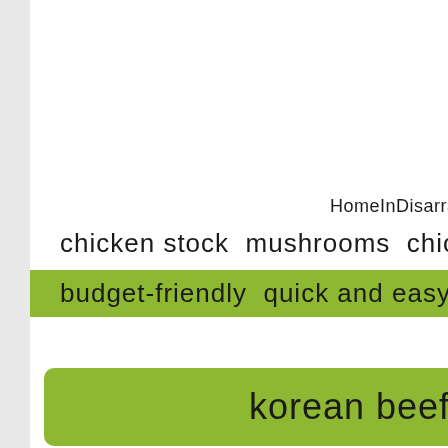HomeInDisarray   3
chicken stock  mushrooms  chicken
budget-friendly  quick and easy  nut
korean beef stew